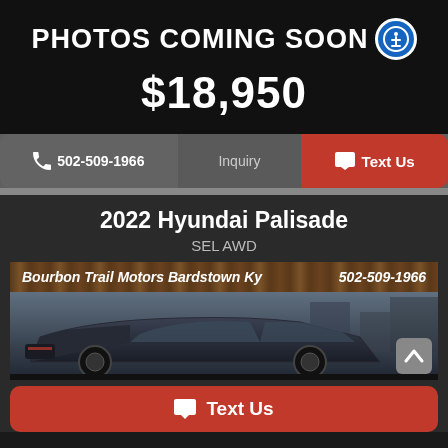PHOTOS COMING SOON
$18,950
502-509-1966  Inquiry  Text Us
2022 Hyundai Palisade SEL AWD
Bourbon Trail Motors Bardstown Ky  502-509-1966
[Figure (photo): Photo of a dark Hyundai Palisade SUV with dealer banner overlay showing Bourbon Trail Motors Bardstown Ky and phone number 502-509-1966]
Text Us